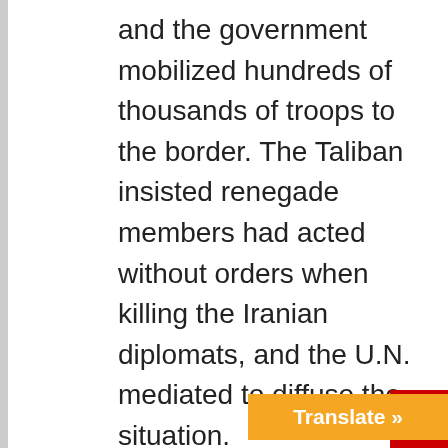and the government mobilized hundreds of thousands of troops to the border. The Taliban insisted renegade members had acted without orders when killing the Iranian diplomats, and the U.N. mediated to diffuse the situation.

Compounding the direct assault on Iranian citizens, the Taliban have also slaughtered members of the Hazara ethnic group, which is mostly Shiite. Since its founding, the Islamic Republic has asserted itself as the global defender of Shiism, intervening in varying ways to protect Shiites. Thus, Tehran provided further funding, munitions, and expertise to the Northern Alliance a